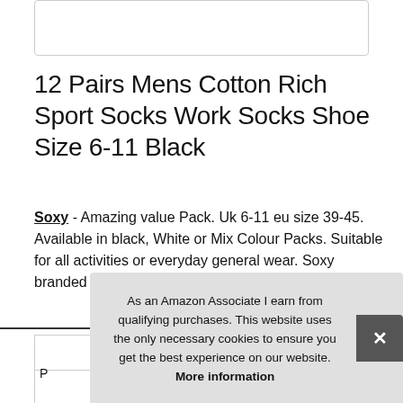[Figure (other): Partial product image box (white rectangle with border, content cropped)]
12 Pairs Mens Cotton Rich Sport Socks Work Socks Shoe Size 6-11 Black
Soxy - Amazing value Pack. Uk 6-11 eu size 39-45. Available in black, White or Mix Colour Packs. Suitable for all activities or everyday general wear. Soxy branded cotton rich Sport Socks.
More information
As an Amazon Associate I earn from qualifying purchases. This website uses the only necessary cookies to ensure you get the best experience on our website. More information